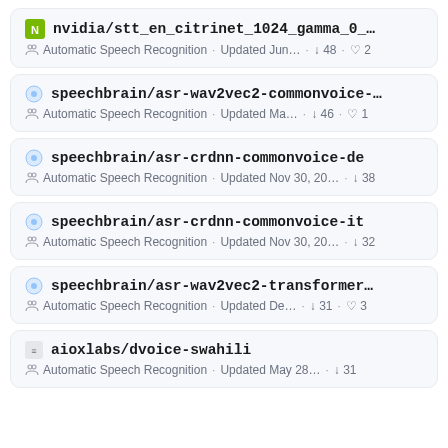nvidia/stt_en_citrinet_1024_gamma_0_… · Automatic Speech Recognition · Updated Jun… · ↓ 48 · ♡ 2
speechbrain/asr-wav2vec2-commonvoice-… · Automatic Speech Recognition · Updated Ma… · ↓ 46 · ♡ 1
speechbrain/asr-crdnn-commonvoice-de · Automatic Speech Recognition · Updated Nov 30, 20… · ↓ 38
speechbrain/asr-crdnn-commonvoice-it · Automatic Speech Recognition · Updated Nov 30, 20… · ↓ 32
speechbrain/asr-wav2vec2-transformer… · Automatic Speech Recognition · Updated De… · ↓ 31 · ♡ 3
aioxlabs/dvoice-swahili · Automatic Speech Recognition · Updated May 28… · ↓ 31